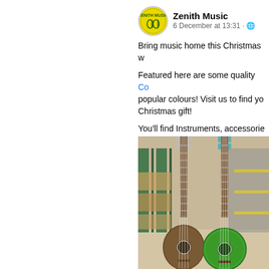[Figure (logo): Zenith Music circular yellow logo with green guitar illustrations and page name 'Zenith Music' with post metadata '6 December at 13:31 · globe icon']
Bring music home this Christmas w

Featured here are some quality Co popular colours! Visit us to find yo Christmas gift!

You'll find Instruments, accessorie Zenith. … See more
[Figure (photo): Two ukuleles standing upright in a warehouse setting — left ukulele has a dark brown/walnut body, right ukulele has a vibrant green flamed body; both have decorative tuning pegs and are photographed against a blurred warehouse shelf background]